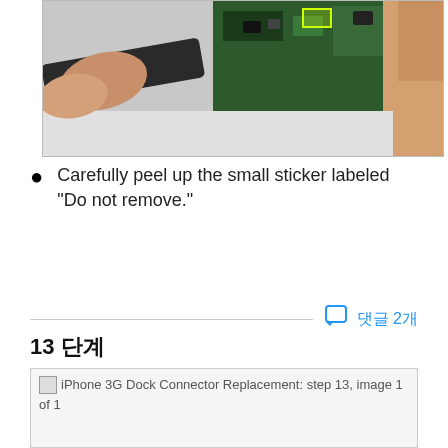[Figure (photo): Close-up photo of iPhone 3G internals being worked on with a spudger tool. A small yellow-green highlighted rectangle marks a component on the circuit board. Fingers visible holding the device.]
Carefully peel up the small sticker labeled "Do not remove."
댓글 2개
13 단계
[Figure (photo): iPhone 3G Dock Connector Replacement: step 13, image 1 of 1]